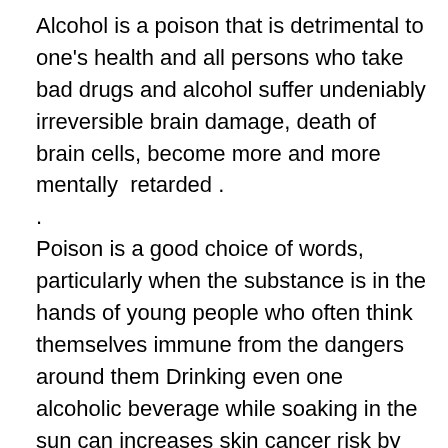Alcohol is a poison that is detrimental to one's health and all persons who take bad drugs and alcohol suffer undeniably irreversible brain damage, death of brain cells, become more and more mentally  retarded .
.
Poison is a good choice of words, particularly when the substance is in the hands of young people who often think themselves immune from the dangers around them Drinking even one alcoholic beverage while soaking in the sun can increases skin cancer risk by 20 percent while drinking more than four glasses increases this risk by 55 percent, a new study finds . It's estimated that  roughly 13% of those watching the  watching Super Bowl  will consume alcoholic beverages. Too many deaths are also  linked to energy drinks being mixed with alcohol. This is a dangerous combination . And it's just a matter of time